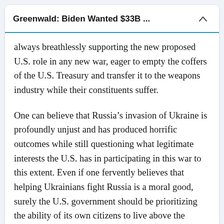Greenwald: Biden Wanted $33B ...
always breathlessly supporting the new proposed U.S. role in any new war, eager to empty the coffers of the U.S. Treasury and transfer it to the weapons industry while their constituents suffer.
One can believe that Russia’s invasion of Ukraine is profoundly unjust and has produced horrific outcomes while still questioning what legitimate interests the U.S. has in participating in this war to this extent. Even if one fervently believes that helping Ukrainians fight Russia is a moral good, surely the U.S. government should be prioritizing the ability of its own citizens to live above the poverty line, have health insurance, send their